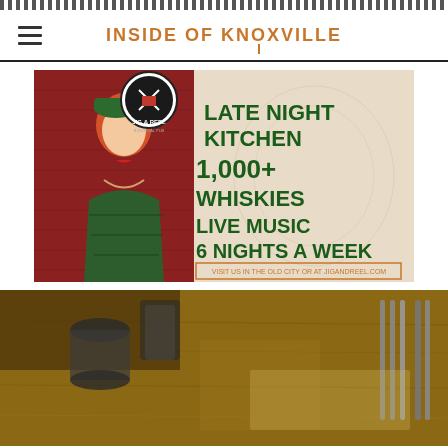INSIDE OF KNOXVILLE
[Figure (illustration): Advertisement for Jig & Reel bar: pin-up style illustration of woman in green dress, logo, text reading LATE NIGHT KITCHEN, 1,000+ WHISKIES, LIVE MUSIC 6 NIGHTS A WEEK, VISIT US IN THE OLD CITY OR AT JIGANDREEL.COM]
[Figure (photo): Restaurant table top photo showing glasses, drinks, and cutlery on a wooden table]